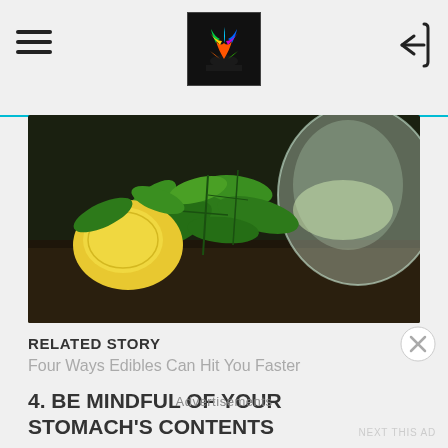Navigation header with hamburger menu, logo, and back button
[Figure (photo): Close-up photo of fresh mint leaves and a lemon with a glass teapot containing pale green liquid, on a dark wooden surface]
RELATED STORY
Four Ways Edibles Can Hit You Faster
4. BE MINDFUL OF YOUR STOMACH'S CONTENTS
[Figure (photo): Broken/missing image placeholder: Edipure cannabis-infused raspberry jellies]
Advertisements